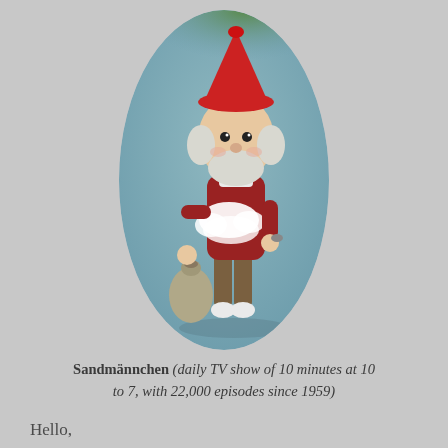[Figure (photo): A Sandmännchen puppet figure wearing a red coat, red pointed hat, brown trousers, white socks, holding a small bag in one hand and sand/dust in the other. Oval-cropped photograph against a blurred blue-green background.]
Sandmännchen (daily TV show of 10 minutes at 10 to 7, with 22,000 episodes since 1959)
Hello,